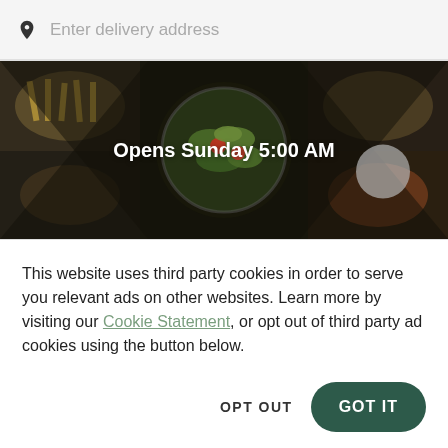Enter delivery address
[Figure (photo): Overhead food photo collage showing salad bowl, fries, and other dishes with dark overlay. Text overlay reads 'Opens Sunday 5:00 AM']
This website uses third party cookies in order to serve you relevant ads on other websites. Learn more by visiting our Cookie Statement, or opt out of third party ad cookies using the button below.
OPT OUT
GOT IT